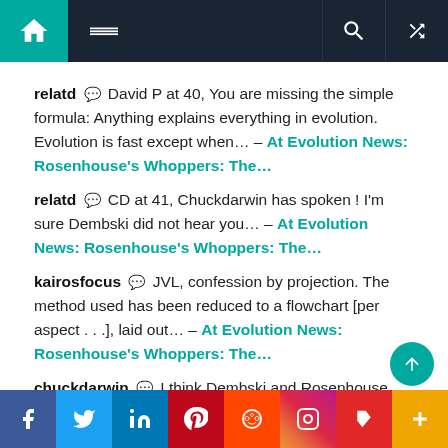Navigation bar with home, menu, search, and shuffle icons
relatd 💬 David P at 40, You are missing the simple formula: Anything explains everything in evolution. Evolution is fast except when... – At Evolution News: Rosenhouse's Whoppers: The...
relatd 💬 CD at 41, Chuckdarwin has spoken ! I'm sure Dembski did not hear you... – At Evolution News: Rosenhouse's Whoppers: The...
kairosfocus 💬 JVL, confession by projection. The method used has been reduced to a flowchart [per aspect . . .], laid out... – At Evolution News: Rosenhouse's Whoppers: The...
chuckdarwin 💬 I think Dembski and Rosenhouse...
Social share bar: f, Twitter, in, Pinterest, Reddit, Instagram, Flipboard, More